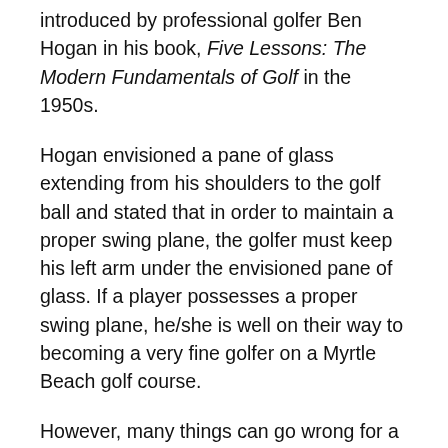introduced by professional golfer Ben Hogan in his book, Five Lessons: The Modern Fundamentals of Golf in the 1950s.
Hogan envisioned a pane of glass extending from his shoulders to the golf ball and stated that in order to maintain a proper swing plane, the golfer must keep his left arm under the envisioned pane of glass. If a player possesses a proper swing plane, he/she is well on their way to becoming a very fine golfer on a Myrtle Beach golf course.
However, many things can go wrong for a player with an improper swing plane. If the player's swing plane is outside the proper swing path, the player will come across the ball from the outside. This will cause the ball to curve right for the right-handed player and left for